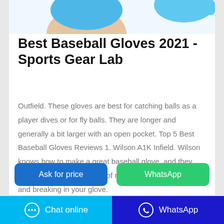[Figure (photo): Partial image of blue latex/nitrile gloves at the top of the card]
Best Baseball Gloves 2021 - Sports Gear Lab
Outfield. These gloves are best for catching balls as a player dives or for fly balls. They are longer and generally a bit larger with an open pocket. Top 5 Best Baseball Gloves Reviews 1. Wilson A1K Infield. Wilson knows how to make a great baseball glove, and they also provide you with a lot of resources on caring for and breaking in your glove.
Ask for price
WhatsApp
Chat online
WhatsApp